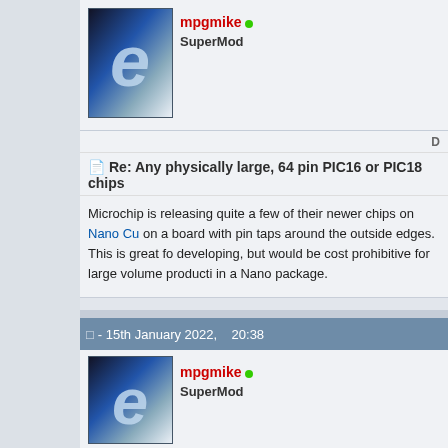[Figure (photo): Avatar image for user mpgmike showing a stylized letter 'e' logo on dark/blue background]
mpgmike ● SuperMod
D
Re: Any physically large, 64 pin PIC16 or PIC18 chips
Microchip is releasing quite a few of their newer chips on Nano Cu... on a board with pin taps around the outside edges. This is great fo... developing, but would be cost prohibitive for large volume producti... in a Nano package.
- 15th January 2022,   20:38
[Figure (photo): Avatar image for user mpgmike showing a stylized letter 'e' logo on dark/blue background]
mpgmike ● SuperMod
D
Re: Any physically large, 64 pin PIC16 or PIC18 chips